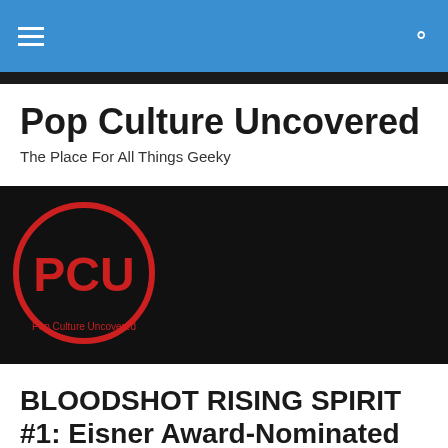Pop Culture Uncovered — navigation bar
[Figure (logo): Pop Culture Uncovered logo: black background with a red circle outline containing the letters PCU in red, and 'Pop Culture Uncovered' text around the bottom of the circle]
Pop Culture Uncovered
The Place For All Things Geeky
BLOODSHOT RISING SPIRIT #1: Eisner Award-Nominated Writer Kevin Greyioux Joins